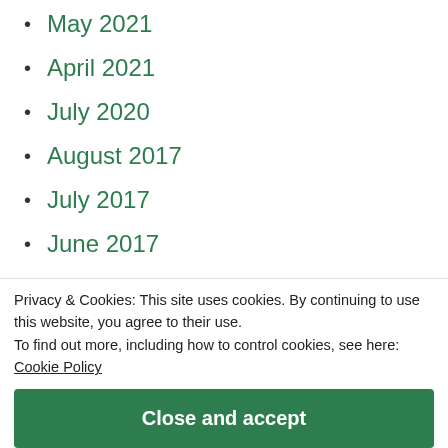May 2021
April 2021
July 2020
August 2017
July 2017
June 2017
May 2017
November 2016
October 2016
September 2016
Privacy & Cookies: This site uses cookies. By continuing to use this website, you agree to their use.
To find out more, including how to control cookies, see here:
Cookie Policy
June 2015